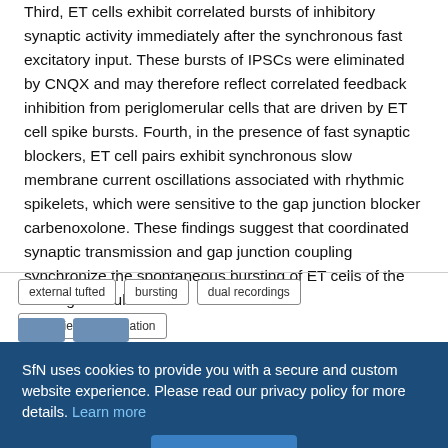Third, ET cells exhibit correlated bursts of inhibitory synaptic activity immediately after the synchronous fast excitatory input. These bursts of IPSCs were eliminated by CNQX and may therefore reflect correlated feedback inhibition from periglomerular cells that are driven by ET cell spike bursts. Fourth, in the presence of fast synaptic blockers, ET cell pairs exhibit synchronous slow membrane current oscillations associated with rhythmic spikelets, which were sensitive to the gap junction blocker carbenoxolone. These findings suggest that coordinated synaptic transmission and gap junction coupling synchronize the spontaneous bursting of ET cells of the same glomerulus.
external tufted
bursting
dual recordings
coefficient of correlation
SfN uses cookies to provide you with a secure and custom website experience. Please read our privacy policy for more details. Learn more